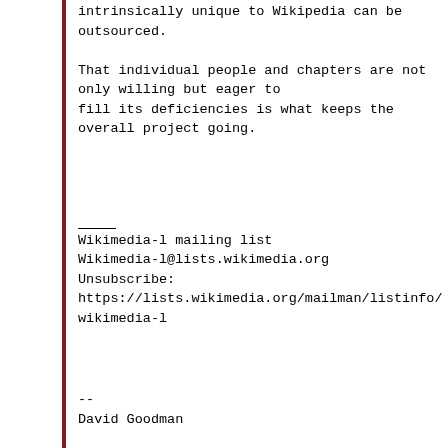intrinsically unique to Wikipedia can be outsourced.
That individual people and chapters are not only willing but eager to fill its deficiencies is what keeps the overall project going.
___
 Wikimedia-l mailing list
 Wikimedia-l@lists.wikimedia.org
 Unsubscribe:
https://lists.wikimedia.org/mailman/listinfo/wikimedia-l
--
David Goodman

DGG at the enWP
http://en.wikipedia.org/wiki/User:DGG